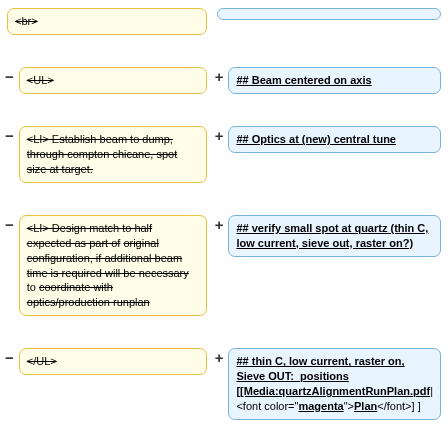<br>
<UL>
## Beam centered on axis
<LI> Establish beam to dump, through compton chicane, spot size at target.
## Optics at (new) central tune
<LI> Design match to half expected as part of original configuration, if additional beam time is required will be necessary to coordinate with optics/production runplan
## verify small spot at quartz (thin C, low current, sieve out, raster on?)
</UL>
## thin C, low current, raster on, Sieve OUT: positions [[Media:quartzAlignmentRunPlan.pdf|<font color="magenta">Plan</font>]]